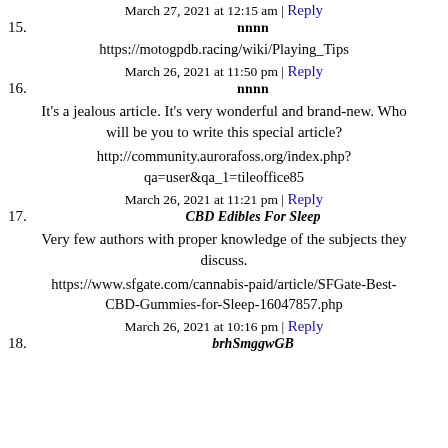15. 𝐧𝐧𝐧𝐧 — March 27, 2021 at 12:15 am | Reply
https://motogpdb.racing/wiki/Playing_Tips
16. 𝐧𝐧𝐧𝐧 — March 26, 2021 at 11:50 pm | Reply
It's a jealous article. It's very wonderful and brand-new. Who will be you to write this special article?
http://community.aurorafoss.org/index.php?qa=user&qa_1=tileoffice85
17. CBD Edibles For Sleep — March 26, 2021 at 11:21 pm | Reply
Very few authors with proper knowledge of the subjects they discuss.
https://www.sfgate.com/cannabis-paid/article/SFGate-Best-CBD-Gummies-for-Sleep-16047857.php
18. brhSmggwGB — March 26, 2021 at 10:16 pm | Reply